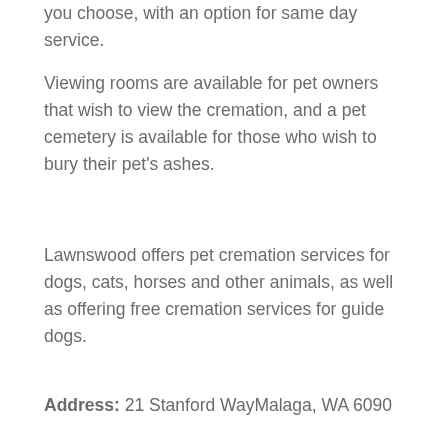you choose, with an option for same day service.
Viewing rooms are available for pet owners that wish to view the cremation, and a pet cemetery is available for those who wish to bury their pet's ashes.
Lawnswood offers pet cremation services for dogs, cats, horses and other animals, as well as offering free cremation services for guide dogs.
Address: 21 Stanford WayMalaga, WA 6090